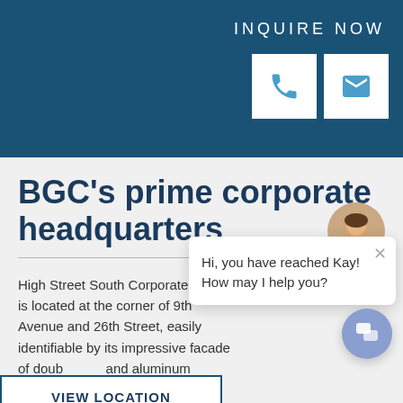INQUIRE NOW
BGC's prime corporate headquarters
High Street South Corporate Plaza is located at the corner of 9th Avenue and 26th Street, easily identifiable by its impressive facade of double and aluminum cladding.
It is easily accessible through and Skyway, providing easy establishments in Bonifacio Global City, Makati City, and the Ninoy Aquino International Airport Terminals.
[Figure (screenshot): Chat popup with avatar and message: Hi, you have reached Kay! How may I help you?]
VIEW LOCATION